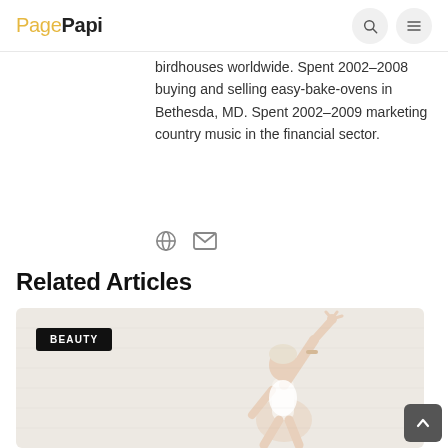PagePapi
birdhouses worldwide. Spent 2002-2008 buying and selling easy-bake-ovens in Bethesda, MD. Spent 2002-2009 marketing country music in the financial sector.
Related Articles
[Figure (photo): A woman doing a yoga pose with one arm raised, photographed against a light brick wall background. A BEAUTY category tag is overlaid in the top-left corner.]